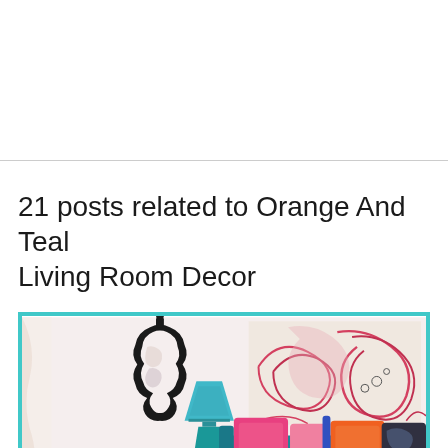21 posts related to Orange And Teal Living Room Decor
[Figure (photo): A colorful living room interior with a teal lamp, ornate black mirror on a light pink/white wall, a large abstract artwork with swirling red/pink patterns on the right wall, a teal sofa with pink, orange, and patterned pillows, green plants, and orange flowers on a side table.]